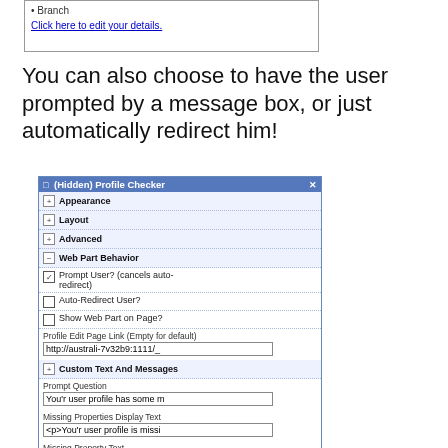[Figure (screenshot): Top portion of a web interface showing a bullet item 'Branch' and a link 'Click here to edit your details.']
You can also choose to have the user prompted by a message box, or just automatically redirect him!
[Figure (screenshot): A dialog box titled '(Hidden) Profile Checker' showing configuration options including Appearance, Layout, Advanced, Web Part Behavior sections, checkboxes for 'Prompt User? (cancels auto-redirect)', 'Auto-Redirect User?', 'Show Web Part on Page?', a Profile Edit Page Link field with 'http://australi-7v32b9:1111/', Custom Text And Messages section with Prompt Question field showing 'You'r user profile has some m', Missing Properties Display Text showing '<p>You'r user profile is missi', Missing Property Text showing '<li>{0}</li>', and OK/Cancel/Apply buttons.]